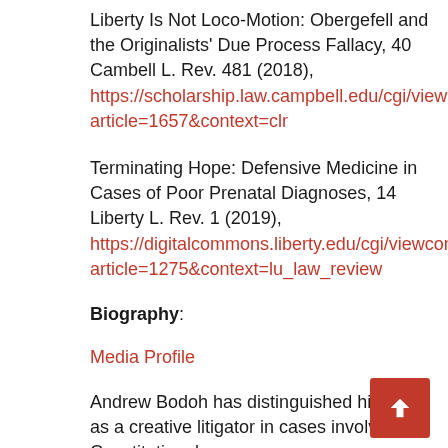Liberty Is Not Loco-Motion: Obergefell and the Originalists' Due Process Fallacy, 40 Cambell L. Rev. 481 (2018), https://scholarship.law.campbell.edu/cgi/viewcontent.article=1657&context=clr
Terminating Hope: Defensive Medicine in Cases of Poor Prenatal Diagnoses, 14 Liberty L. Rev. 1 (2019), https://digitalcommons.liberty.edu/cgi/viewcontent.cgi?article=1275&context=lu_law_review
Biography:
Media Profile
Andrew Bodoh has distinguished himself as a creative litigator in cases involving Constitutional